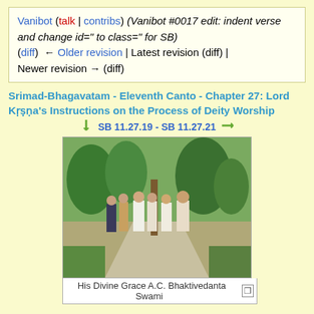Vanibot (talk | contribs) (Vanibot #0017 edit: indent verse and change id=" to class=" for SB) (diff) ← Older revision | Latest revision (diff) | Newer revision → (diff)
Srimad-Bhagavatam - Eleventh Canto - Chapter 27: Lord Kṛṣṇa's Instructions on the Process of Deity Worship
SB 11.27.19 - SB 11.27.21
[Figure (photo): Photo of His Divine Grace A.C. Bhaktivedanta Swami walking outdoors with a group of devotees in robes and traditional dress, surrounded by trees and greenery.]
His Divine Grace A.C. Bhaktivedanta Swami